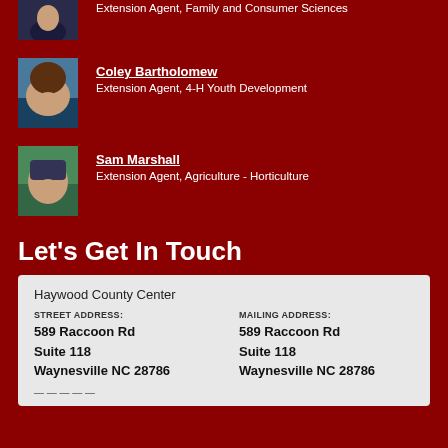[Figure (photo): Partial photo of a person (top cropped), wearing dark clothing]
Extension Agent, Family and Consumer Sciences
[Figure (photo): Photo of Coley Bartholomew, smiling woman with short brown hair]
Coley Bartholomew
Extension Agent, 4-H Youth Development
[Figure (photo): Photo of Sam Marshall, young man crouching outdoors]
Sam Marshall
Extension Agent, Agriculture - Horticulture
Let's Get In Touch
Haywood County Center
STREET ADDRESS:
589 Raccoon Rd
Suite 118
Waynesville NC 28786
MAILING ADDRESS:
589 Raccoon Rd
Suite 118
Waynesville NC 28786